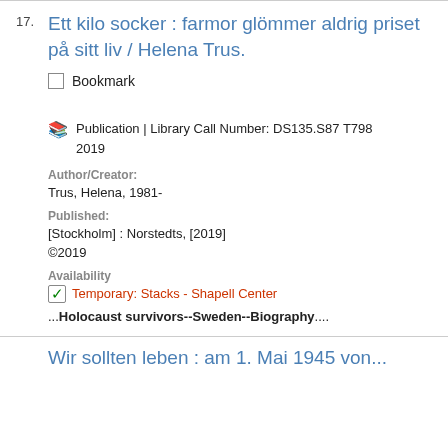17. Ett kilo socker : farmor glömmer aldrig priset på sitt liv / Helena Trus.
Bookmark
Publication | Library Call Number: DS135.S87 T798 2019
Author/Creator: Trus, Helena, 1981-
Published: [Stockholm] : Norstedts, [2019] ©2019
Availability
Temporary: Stacks - Shapell Center
...Holocaust survivors--Sweden--Biography....
Wir sollten leben : am 1. Mai 1945 von...